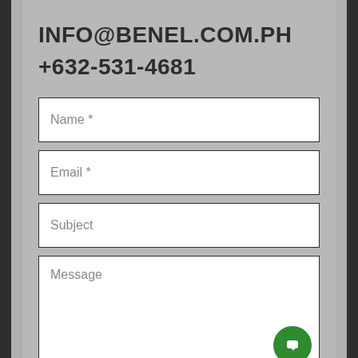INFO@BENEL.COM.PH
+632-531-4681
Name *
Email *
Subject
Message